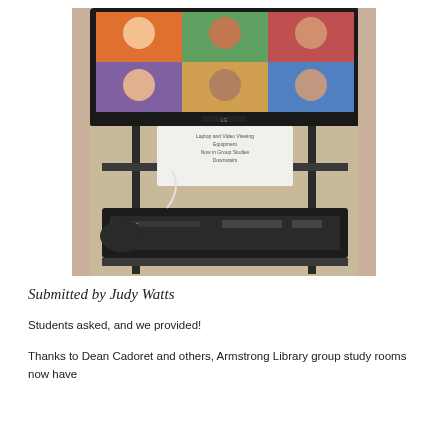[Figure (photo): A library AV cart with an LG flat-screen TV on top showing a grid of faces, a sign in the middle shelf reading 'Laptop and Video Viewing Equipment Now in Group Studies Downstairs', and a JVC VCR/DVD player on the bottom shelf.]
Submitted by Judy Watts
Students asked, and we provided!
Thanks to Dean Cadoret and others, Armstrong Library group study rooms now have